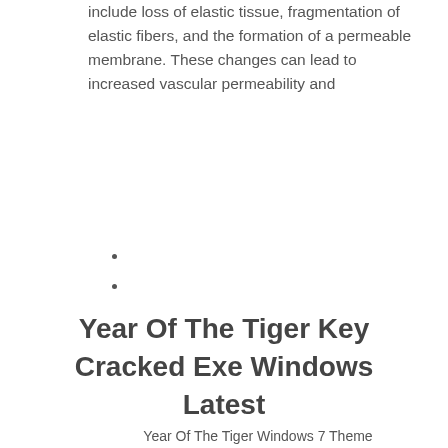include loss of elastic tissue, fragmentation of elastic fibers, and the formation of a permeable membrane. These changes can lead to increased vascular permeability and
Year Of The Tiger Key Cracked Exe Windows Latest
Year Of The Tiger Windows 7 Theme